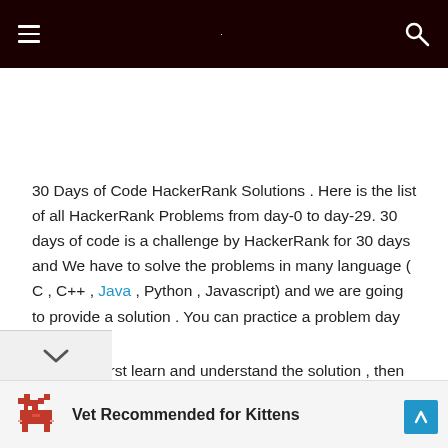☰  [search icon]
30 Days of Code HackerRank Solutions . Here is the list of all HackerRank Problems from day-0 to day-29. 30 days of code is a challenge by HackerRank for 30 days and We have to solve the problems in many language ( C , C++ , Java , Python , Javascript) and we are going to provide a solution . You can practice a problem day by day.
Advice : First learn and understand the solution , then copy aste the solution in HackerRank code editor.
Vet Recommended for Kittens